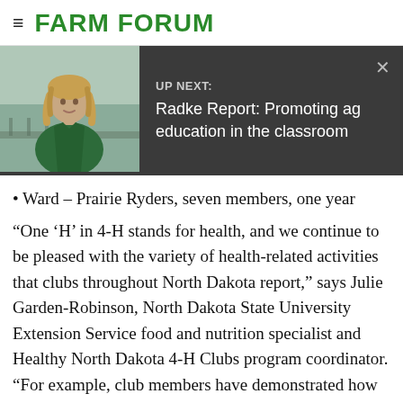FARM FORUM
[Figure (photo): Woman with blonde hair wearing a green jacket, posing for a portrait outdoors. Next to a dark banner reading 'UP NEXT: Radke Report: Promoting ag education in the classroom']
Ward – Prairie Ryders, seven members, one year
“One ‘H’ in 4-H stands for health, and we continue to be pleased with the variety of health-related activities that clubs throughout North Dakota report,” says Julie Garden-Robinson, North Dakota State University Extension Service food and nutrition specialist and Healthy North Dakota 4-H Clubs program coordinator. “For example, club members have demonstrated how to prepare healthful snacks, served food safely at county events and helped in community gardens.